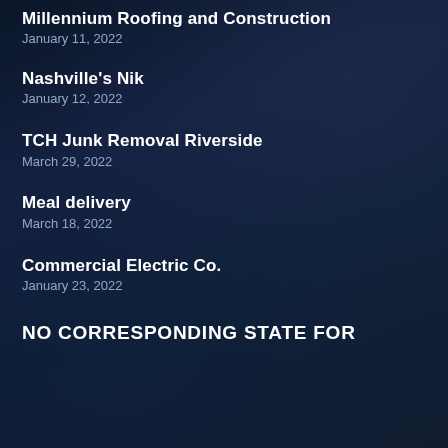Millennium Roofing and Construction
January 11, 2022
Nashville's Nik
January 12, 2022
TCH Junk Removal Riverside
March 29, 2022
Meal delivery
March 18, 2022
Commercial Electric Co.
January 23, 2022
NO CORRESPONDING STATE FOR